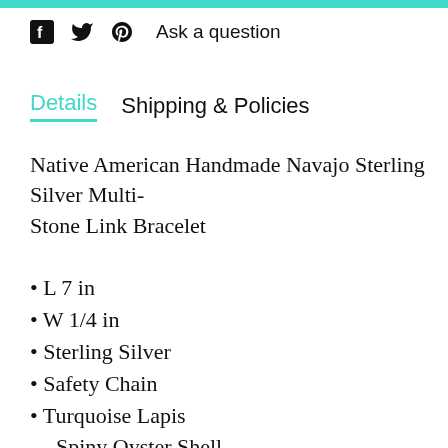f  ꞵ  ℗  Ask a question
Details   Shipping & Policies
Native American Handmade Navajo Sterling Silver Multi-
Stone Link Bracelet
L 7 in
W 1/4 in
Sterling Silver
Safety Chain
Turquoise Lapis Spiny Oyster Shell White Mother of Pearl Shell
Perino Lapis...